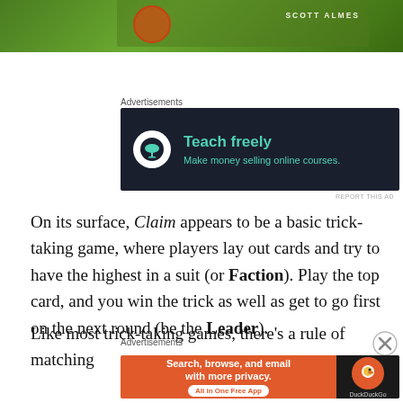[Figure (photo): Partial top of a board game box showing green illustration with 'SCOTT ALMES' text]
Advertisements
[Figure (other): Advertisement banner: Teach freely - Make money selling online courses. Dark background with teal text and bonsai tree icon.]
REPORT THIS AD
On its surface, Claim appears to be a basic trick-taking game, where players lay out cards and try to have the highest in a suit (or Faction). Play the top card, and you win the trick as well as get to go first on the next round (be the Leader).
Like most trick-taking games, there's a rule of matching
Advertisements
[Figure (other): DuckDuckGo advertisement banner: Search, browse, and email with more privacy. All in One Free App. Orange background with DuckDuckGo logo.]
REPORT THIS AD